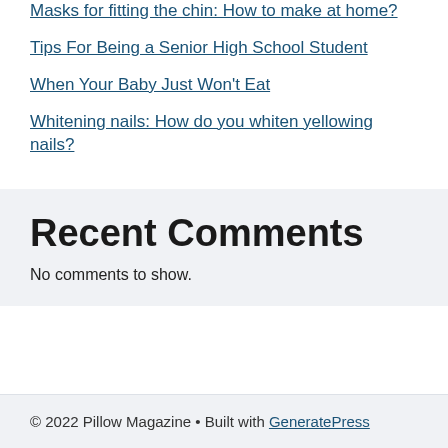Masks for fitting the chin: How to make at home?
Tips For Being a Senior High School Student
When Your Baby Just Won't Eat
Whitening nails: How do you whiten yellowing nails?
Recent Comments
No comments to show.
© 2022 Pillow Magazine • Built with GeneratePress